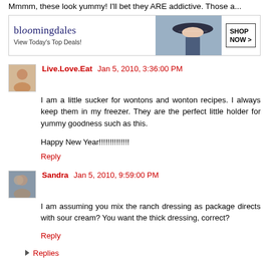Mmmm, these look yummy! I'll bet they ARE addictive. Those a...
[Figure (screenshot): Bloomingdale's advertisement banner: 'bloomingdales View Today's Top Deals!' with a woman wearing a large hat, and a 'SHOP NOW >' button.]
R...
Live.Love.Eat  Jan 5, 2010, 3:36:00 PM
I am a little sucker for wontons and wonton recipes. I always keep them in my freezer. They are the perfect little holder for yummy goodness such as this.

Happy New Year!!!!!!!!!!!!!!
Reply
Sandra  Jan 5, 2010, 9:59:00 PM
I am assuming you mix the ranch dressing as package directs with sour cream? You want the thick dressing, correct?
Reply
Replies